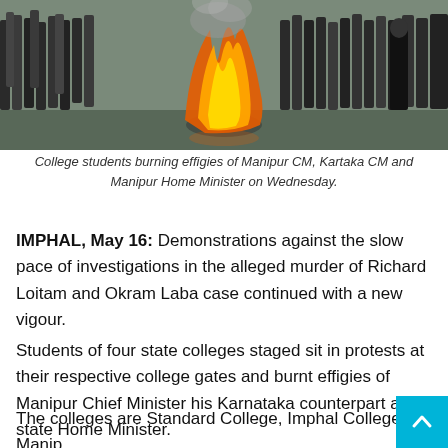[Figure (photo): Crowd of college students standing around a large fire burning effigies on a wet street. People are gathered in a circle watching the flames.]
College students burning effigies of Manipur CM, Kartaka CM and Manipur Home Minister on Wednesday.
IMPHAL, May 16: Demonstrations against the slow pace of investigations in the alleged murder of Richard Loitam and Okram Laba case continued with a new vigour.
Students of four state colleges staged sit in protests at their respective college gates and burnt effigies of Manipur Chief Minister his Karnataka counterpart and state Home Minister.
The colleges are Standard College, Imphal College, Manip